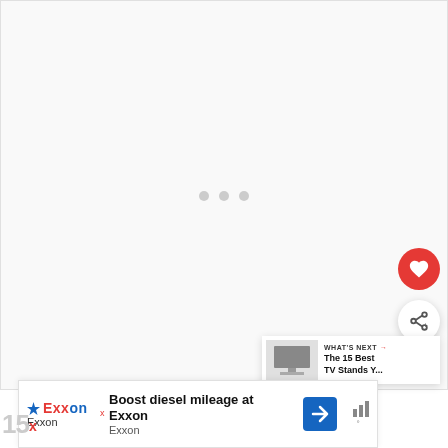[Figure (screenshot): Mostly blank/white content area with three light gray loading dots in the center, representing a loading state of a web page or app.]
[Figure (other): Red circular heart/favorite button]
[Figure (other): White circular share button with share icon]
[Figure (other): What's Next card with thumbnail image of a TV stand and text: WHAT'S NEXT → The 15 Best TV Stands Y...]
[Figure (other): Advertisement banner: Boost diesel mileage at Exxon, Exxon brand logo with blue/red colors, navigation arrow icon, and audio/mute bars icon. Small 15x watermark at bottom left.]